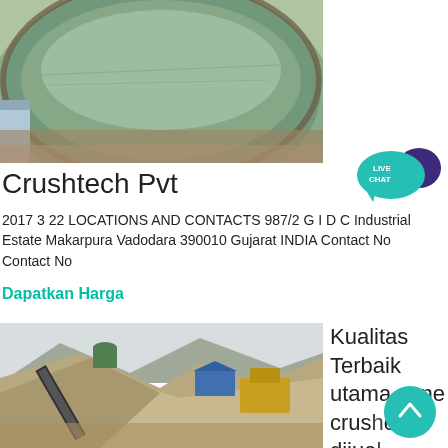[Figure (photo): Aerial or close-up view of a large circular industrial tank or settling pond with greenish water]
[Figure (illustration): Live Chat speech bubble icon with teal and dark purple color, text LIVE CHAT]
Crushtech Pvt
2017 3 22 LOCATIONS AND CONTACTS 987/2 G I D C Industrial Estate Makarpura Vadodara 390010 Gujarat INDIA Contact No Contact No
Dapatkan Harga
[Figure (photo): Quarry or mining site with large piles of crushed stone/gravel, conveyor belts and heavy machinery in the background]
Kualitas Terbaik utama cone crusher dijual